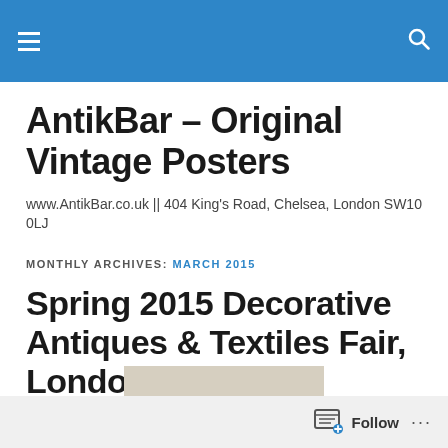AntikBar – Original Vintage Posters
AntikBar – Original Vintage Posters
www.AntikBar.co.uk || 404 King's Road, Chelsea, London SW10 0LJ
MONTHLY ARCHIVES: MARCH 2015
Spring 2015 Decorative Antiques & Textiles Fair, London
Follow ...